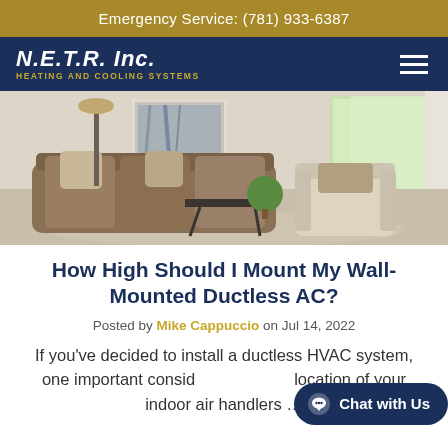Emergency Service: (781) 933-6387
[Figure (logo): N.E.T.R. Inc. Heating and Cooling Systems logo in white and gold on dark navy background, with hamburger menu icon]
[Figure (photo): Interior living room photo showing a grey sofa with pillows, an armchair, a small plant on a geometric coffee table, floor lamp, and bright window with trees outside]
How High Should I Mount My Wall-Mounted Ductless AC?
Posted by Mike Cappuccio on Jul 14, 2022
If you've decided to install a ductless HVAC system, one important consid… location of your indoor air handlers …